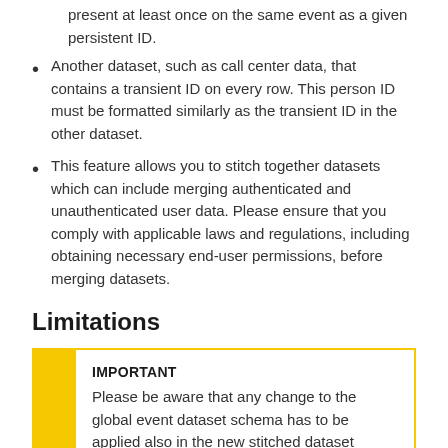present at least once on the same event as a given persistent ID.
Another dataset, such as call center data, that contains a transient ID on every row. This person ID must be formatted similarly as the transient ID in the other dataset.
This feature allows you to stitch together datasets which can include merging authenticated and unauthenticated user data. Please ensure that you comply with applicable laws and regulations, including obtaining necessary end-user permissions, before merging datasets.
Limitations
IMPORTANT
Please be aware that any change to the global event dataset schema has to be applied also in the new stitched dataset schema, otherwise it will break